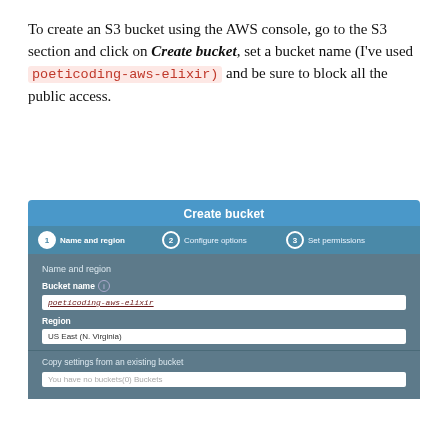To create an S3 bucket using the AWS console, go to the S3 section and click on Create bucket, set a bucket name (I've used poeticoding-aws-elixir) and be sure to block all the public access.
[Figure (screenshot): AWS Console 'Create bucket' wizard screenshot showing step 1 'Name and region' with bucket name field filled as 'poeticoding-aws-elixir', Region set to 'US East (N. Virginia)', and a 'Copy settings from an existing bucket' section with 'You have no buckets(0) Buckets' placeholder.]